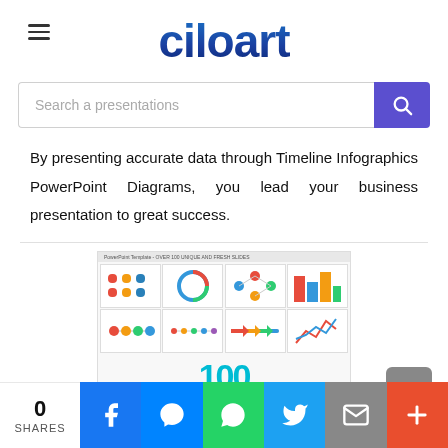ciloart
Search a presentations
By presenting accurate data through Timeline Infographics PowerPoint Diagrams, you lead your business presentation to great success.
[Figure (screenshot): Preview image of PowerPoint template pack showing 100 Timeline slides with colorful infographic layouts]
0 SHARES | Facebook | Messenger | WhatsApp | Twitter | Mail | Plus